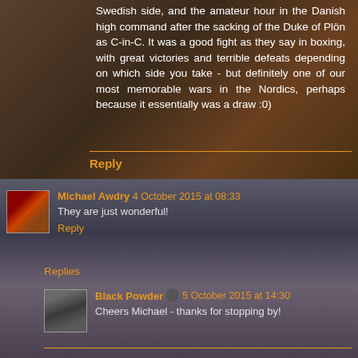Swedish side, and the amateur hour in the Danish high command after the sacking of the Duke of Plön as C-in-C. It was a good fight as they say in boxing, with great victories and terrible defeats depending on which side you take - but definitely one of our most memorable wars in the Nordics, perhaps because it essentially was a draw :0)
Reply
Michael Awdry 4 October 2015 at 08:33
They are just wonderful!
Reply
Replies
Black Powder 5 October 2015 at 14:30
Cheers Michael - thanks for stopping by!